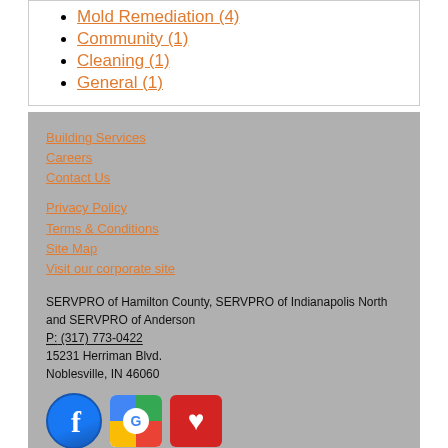Mold Remediation (4)
Community (1)
Cleaning (1)
General (1)
Building Services
Careers
Contact Us
Privacy Policy
Terms & Conditions
Site Map
Visit our corporate site
SERVPRO of Hamilton County, SERVPRO of Indianapolis North and SERVPRO of Anderson
P: (317) 773-0422
15231 Herriman Blvd.
Noblesville, IN 46060
[Figure (logo): Facebook, Google My Business, and Yelp social media icons]
© Servpro Industries, LLC. – All services in the U.S. performed by independently owned and operated franchises of Servpro Industries, LLC.
© Servpro Industries (Canada) ULC – All services in Canada performed by independently owned and operated franchises of Servpro Industries (Canada) ULC.